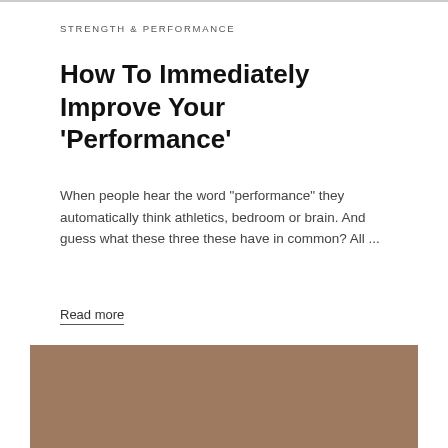STRENGTH & PERFORMANCE
How To Immediately Improve Your 'Performance'
When people hear the word "performance" they automatically think athletics, bedroom or brain. And guess what these three these have in common? All ...
Read more
[Figure (photo): A brown/tan colored image placeholder block]